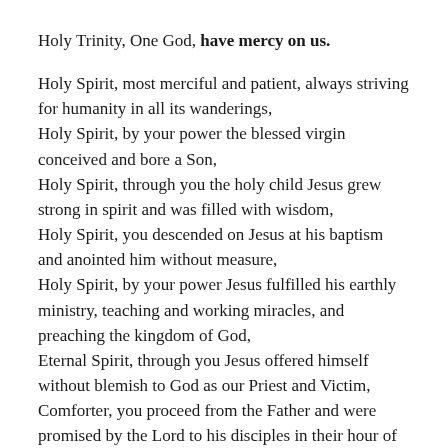Holy Trinity, One God, have mercy on us.
Holy Spirit, most merciful and patient, always striving for humanity in all its wanderings, Holy Spirit, by your power the blessed virgin conceived and bore a Son, Holy Spirit, through you the holy child Jesus grew strong in spirit and was filled with wisdom, Holy Spirit, you descended on Jesus at his baptism and anointed him without measure, Holy Spirit, by your power Jesus fulfilled his earthly ministry, teaching and working miracles, and preaching the kingdom of God, Eternal Spirit, through you Jesus offered himself without blemish to God as our Priest and Victim, Comforter, you proceed from the Father and were promised by the Lord to his disciples in their hour of sorrow, have mercy on us.